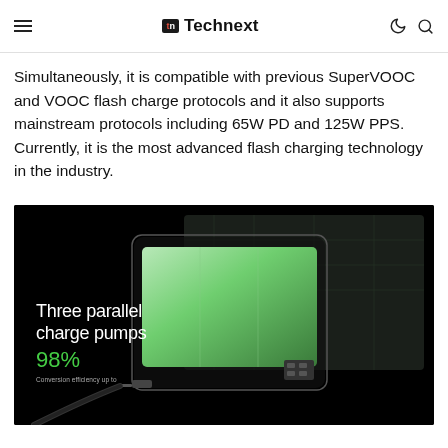≡  tn Technext  ☾ 🔍
Simultaneously, it is compatible with previous SuperVOOC and VOOC flash charge protocols and it also supports mainstream protocols including 65W PD and 125W PPS. Currently, it is the most advanced flash charging technology in the industry.
[Figure (photo): Dark promotional image of a smartphone showing its internal battery with text overlay: 'Three parallel charge pumps' and '98%' in green with subtitle 'Conversion efficiency up to']